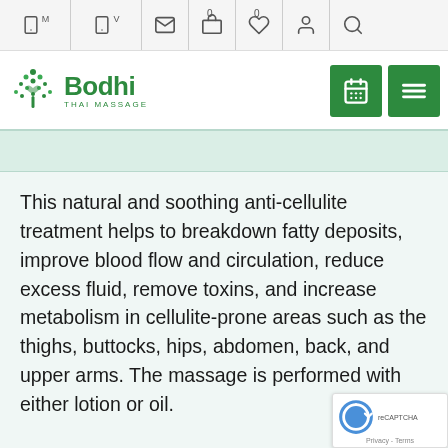Navigation bar with M and V phone icons, mail icon, cart (0), wishlist (0), account, search
[Figure (logo): Bodhi Thai Massage logo with green tree/dots icon and green text]
[Figure (screenshot): Green calendar button and green hamburger menu button in header]
[Figure (photo): Light teal/green banner hero image area]
This natural and soothing anti-cellulite treatment helps to breakdown fatty deposits, improve blood flow and circulation, reduce excess fluid, remove toxins, and increase metabolism in cellulite-prone areas such as the thighs, buttocks, hips, abdomen, back, and upper arms. The massage is performed with either lotion or oil.